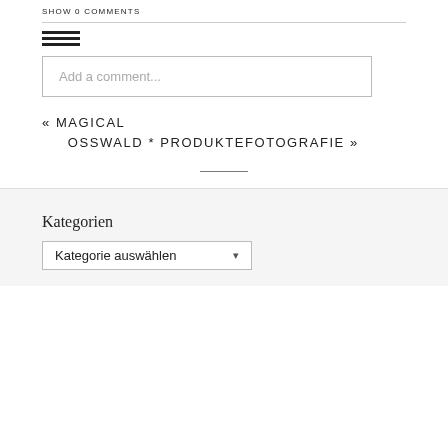SHOW 0 COMMENTS
[Figure (illustration): Hamburger menu icon: three horizontal black lines stacked vertically]
Add a comment...
« MAGICAL OSSWALD * PRODUKTEFOTOGRAFIE »
Kategorien
Kategorie auswählen